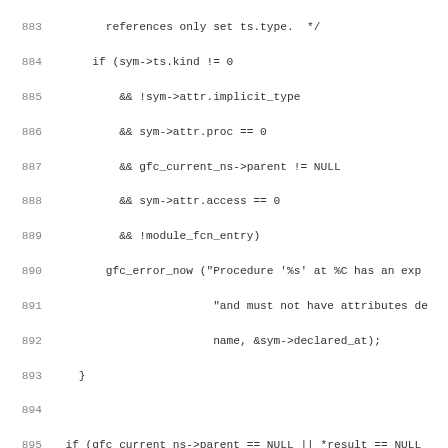Source code listing, lines 883-914, C code snippet involving symbol tree operations in a compiler (GCC frontend).